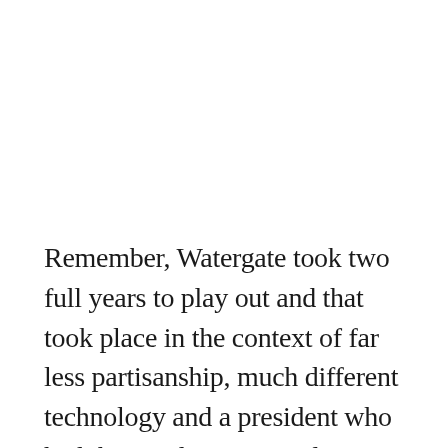Remember, Watergate took two full years to play out and that took place in the context of far less partisanship, much different technology and a president who had the good sense to at least keep his bizarre ramblings to himself — if albeit on tape. One thing about TrumpRussia that makes it worse than Watergate is the foreign aspect. But just look at the parts of the scandal on how to undo...